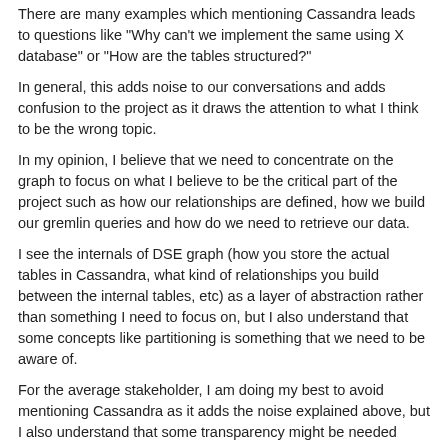There are many examples which mentioning Cassandra leads to questions like "Why can't we implement the same using X database" or "How are the tables structured?"
In general, this adds noise to our conversations and adds confusion to the project as it draws the attention to what I think to be the wrong topic.
In my opinion, I believe that we need to concentrate on the graph to focus on what I believe to be the critical part of the project such as how our relationships are defined, how we build our gremlin queries and how do we need to retrieve our data.
I see the internals of DSE graph (how you store the actual tables in Cassandra, what kind of relationships you build between the internal tables, etc) as a layer of abstraction rather than something I need to focus on, but I also understand that some concepts like partitioning is something that we need to be aware of.
For the average stakeholder, I am doing my best to avoid mentioning Cassandra as it adds the noise explained above, but I also understand that some transparency might be needed
Where should we draw the line? How much should we know